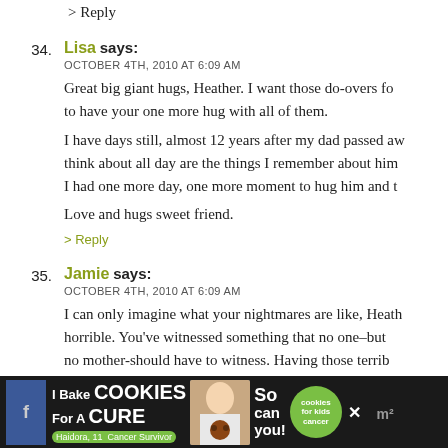> Reply
34. Lisa says:
OCTOBER 4TH, 2010 AT 6:09 AM
Great big giant hugs, Heather. I want those do-overs fo... to have your one more hug with all of them.
I have days still, almost 12 years after my dad passed aw... think about all day are the things I remember about him... I had one more day, one more moment to hug him and t...
Love and hugs sweet friend.
> Reply
35. Jamie says:
OCTOBER 4TH, 2010 AT 6:09 AM
I can only imagine what your nightmares are like, Heath... horrible. You've witnessed something that no one–but... no mother-should have to witness. Having those terrib... Maddie must be an awful burden sometimes. My Mom...
[Figure (other): Advertisement banner: I Bake COOKIES For A CURE with photo of girl and cookies for kids cancer badge]